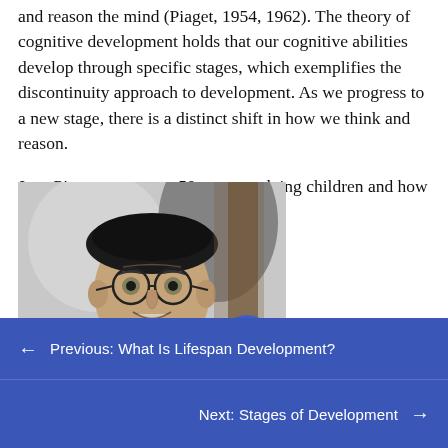and reason the mind (Piaget, 1954, 1962). The theory of cognitive development holds that our cognitive abilities develop through specific stages, which exemplifies the discontinuity approach to development. As we progress to a new stage, there is a distinct shift in how we think and reason.
Jean Piaget spent over 50 years studying children and how their minds develop.
[Figure (photo): Black and white photograph of Jean Piaget, an elderly man wearing glasses and a dark beret, smiling. A blue circular scroll-to-top button overlaps the photo.]
← Previous: What Is Lifespan Development?
Next: Stages of Development →